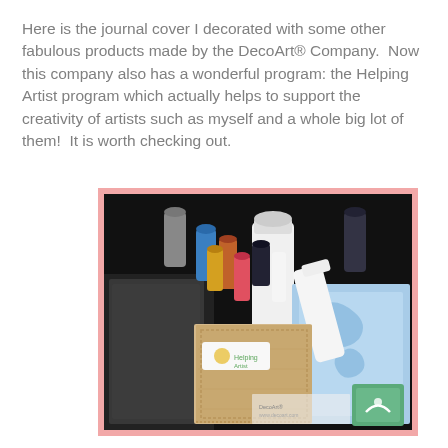Here is the journal cover I decorated with some other fabulous products made by the DecoArt® Company.  Now this company also has a wonderful program: the Helping Artist program which actually helps to support the creativity of artists such as myself and a whole big lot of them!  It is worth checking out.
[Figure (photo): Photo of art supplies including paint bottles, tubes, a white jar, blue stencils/plastic sheeting, and a journal cover (beige/tan cardboard with stitched edges), laid out on a dark surface. A small logo is visible in the bottom right corner.]